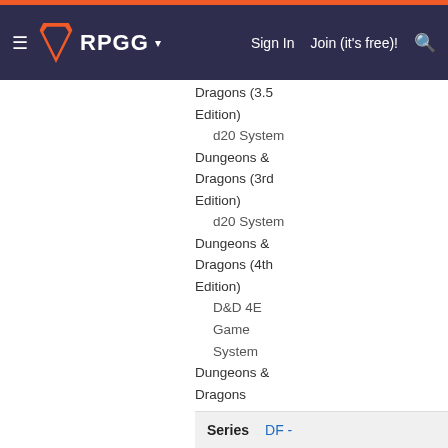RPGG — Sign In | Join (it's free)! | Search
Dragons (3.5 Edition)
d20 System
Dungeons & Dragons (3rd Edition)
d20 System
Dungeons & Dragons (4th Edition)
D&D 4E
Game System
Dungeons & Dragons (Original Edition)
Endless Quest Books
Systemless Gamebooks
Original D&D Compatible Products
Series  DF -